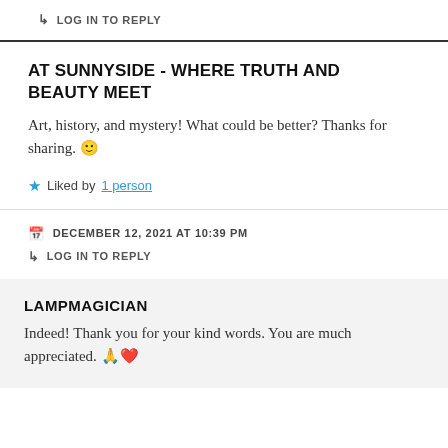↳ LOG IN TO REPLY
AT SUNNYSIDE - WHERE TRUTH AND BEAUTY MEET
Art, history, and mystery! What could be better? Thanks for sharing. 🙂
★ Liked by 1 person
📅 DECEMBER 12, 2021 AT 10:39 PM
↳ LOG IN TO REPLY
LAMPMAGICIAN
Indeed! Thank you for your kind words. You are much appreciated. 🙏❤️